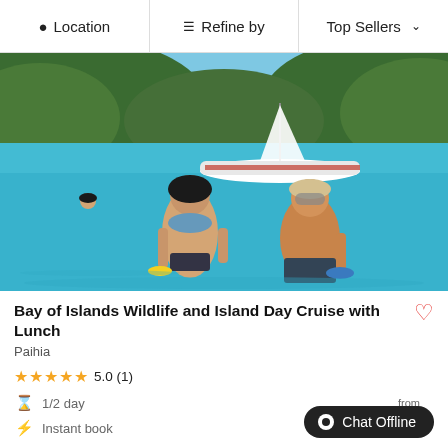Location | Refine by | Top Sellers
[Figure (photo): Two people walking out of the ocean with snorkel gear and flippers, smiling. A catamaran sailboat is anchored in the blue bay behind them, with green forested hills in the background.]
Bay of Islands Wildlife and Island Day Cruise with Lunch
Paihia
★★★★★ 5.0 (1)
1/2 day
Instant book
from $148
Chat Offline